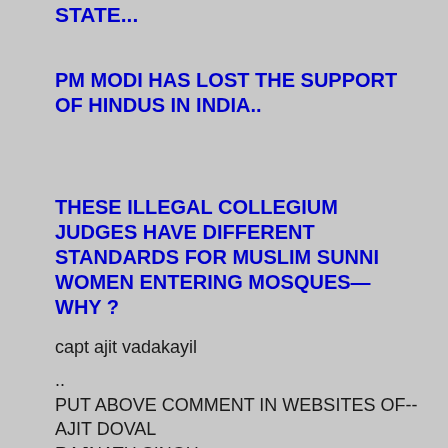STATE...
PM MODI HAS LOST THE SUPPORT OF HINDUS IN INDIA..
THESE ILLEGAL COLLEGIUM JUDGES HAVE DIFFERENT STANDARDS FOR MUSLIM SUNNI WOMEN ENTERING MOSQUES—  WHY ?
capt ajit vadakayil
..
PUT ABOVE COMMENT IN WEBSITES OF--
AJIT DOVAL
RAJNATH SINGH
NIA